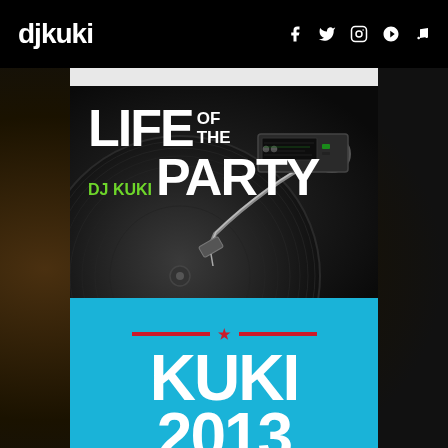djkuki — social icons (Facebook, Twitter, Instagram, Apple, Music)
[Figure (illustration): Album art for 'Life of the Party by DJ Kuki' — dark background with close-up of a DJ turntable/record player needle and arm. Text overlay reads: LIFE OF THE / DJ KUKI PARTY in large white and green bold letters.]
[Figure (illustration): Blue panel showing red double-line divider with star, then large white bold text: KUKI and beginning of year 2013 or similar.]